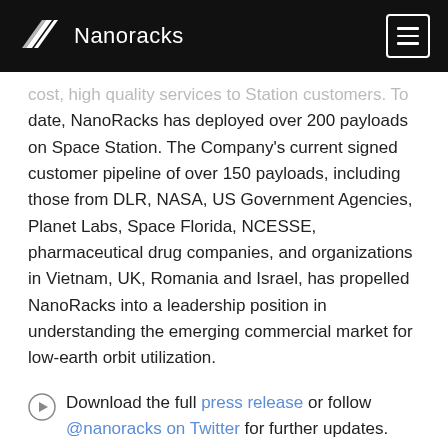Nanoracks
cost, high quality services to Station customers. To date, NanoRacks has deployed over 200 payloads on Space Station. The Company's current signed customer pipeline of over 150 payloads, including those from DLR, NASA, US Government Agencies, Planet Labs, Space Florida, NCESSE, pharmaceutical drug companies, and organizations in Vietnam, UK, Romania and Israel, has propelled NanoRacks into a leadership position in understanding the emerging commercial market for low-earth orbit utilization.
Download the full press release or follow @nanoracks on Twitter for further updates.